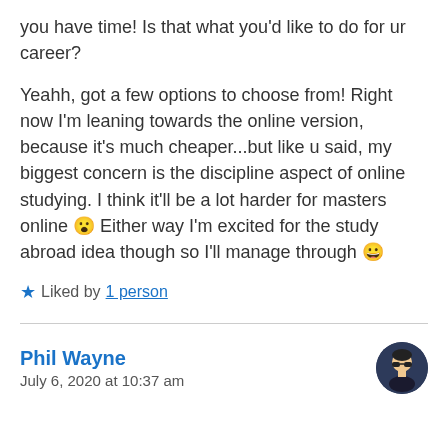you have time! Is that what you'd like to do for ur career?
Yeahh, got a few options to choose from! Right now I'm leaning towards the online version, because it's much cheaper...but like u said, my biggest concern is the discipline aspect of online studying. I think it'll be a lot harder for masters online 😮 Either way I'm excited for the study abroad idea though so I'll manage through 😀
★ Liked by 1 person
Phil Wayne
July 6, 2020 at 10:37 am